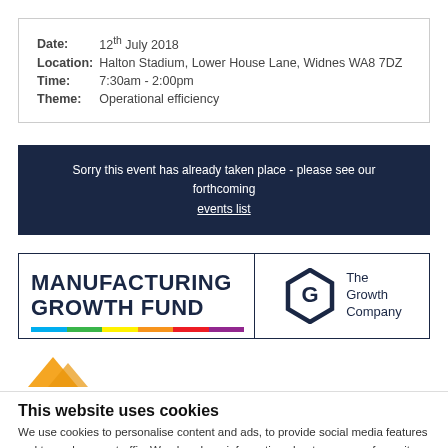| Date: | 12th July 2018 |
| Location: | Halton Stadium, Lower House Lane, Widnes WA8 7DZ |
| Time: | 7:30am - 2:00pm |
| Theme: | Operational efficiency |
Sorry this event has already taken place - please see our forthcoming events list
[Figure (logo): Manufacturing Growth Fund logo with The Growth Company hexagon logo]
[Figure (logo): Partial yellow shape logo at bottom]
This website uses cookies
We use cookies to personalise content and ads, to provide social media features and to analyse our traffic. We also share information about your use of our site with our social media, advertising and analytics partners who may combine it with other information that you've provided to them or that they've